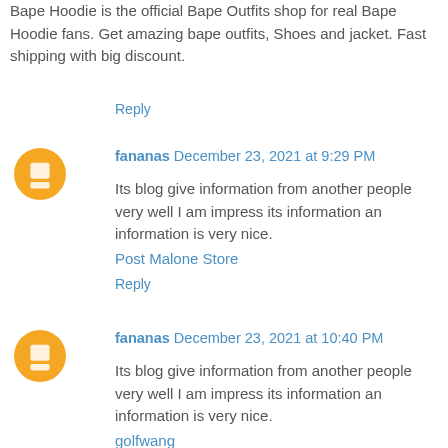Bape Hoodie is the official Bape Outfits shop for real Bape Hoodie fans. Get amazing bape outfits, Shoes and jacket. Fast shipping with big discount.
Reply
fananas December 23, 2021 at 9:29 PM
Its blog give information from another people very well I am impress its information an information is very nice.
Post Malone Store
Reply
fananas December 23, 2021 at 10:40 PM
Its blog give information from another people very well I am impress its information an information is very nice.
golfwang
Reply